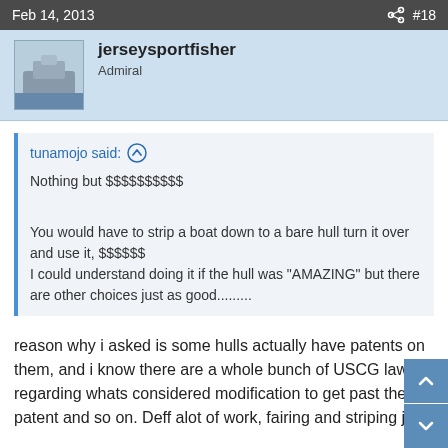Feb 14, 2013  #18
jerseysportfisher
Admiral
tunamojo said:
Nothing but $$$$$$$$$$

You would have to strip a boat down to a bare hull turn it over and use it, $$$$$$
I could understand doing it if the hull was "AMAZING" but there are other choices just as good.........
reason why i asked is some hulls actually have patents on them, and i know there are a whole bunch of USCG laws regarding whats considered modification to get past the patent and so on. Deff alot of work, fairing and striping just to achieve it....